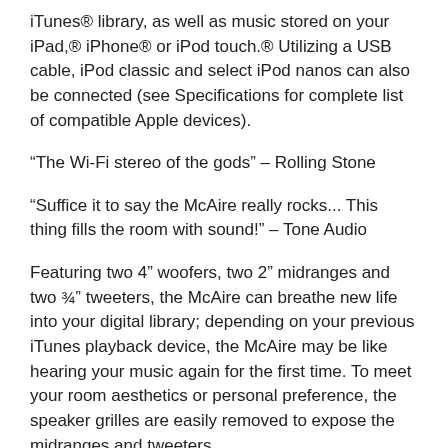iTunes® library, as well as music stored on your iPad,® iPhone® or iPod touch.® Utilizing a USB cable, iPod classic and select iPod nanos can also be connected (see Specifications for complete list of compatible Apple devices).
“The Wi-Fi stereo of the gods” – Rolling Stone
“Suffice it to say the McAire really rocks... This thing fills the room with sound!” – Tone Audio
Featuring two 4” woofers, two 2” midranges and two ¾” tweeters, the McAire can breathe new life into your digital library; depending on your previous iTunes playback device, the McAire may be like hearing your music again for the first time. To meet your room aesthetics or personal preference, the speaker grilles are easily removed to expose the midranges and tweeters.
“...the most impressive aspect of the McAire is the way, like